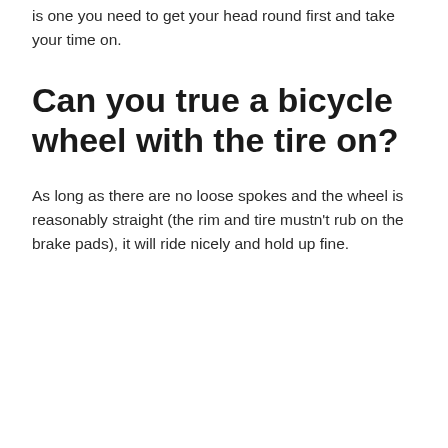is one you need to get your head round first and take your time on.
Can you true a bicycle wheel with the tire on?
As long as there are no loose spokes and the wheel is reasonably straight (the rim and tire mustn't rub on the brake pads), it will ride nicely and hold up fine.